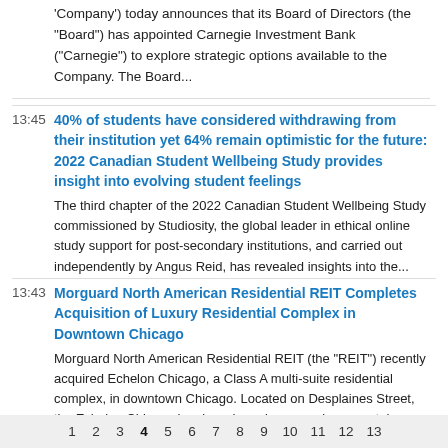'Company') today announces that its Board of Directors (the 'Board') has appointed Carnegie Investment Bank ("Carnegie") to explore strategic options available to the Company. The Board...
13:45
40% of students have considered withdrawing from their institution yet 64% remain optimistic for the future: 2022 Canadian Student Wellbeing Study provides insight into evolving student feelings
The third chapter of the 2022 Canadian Student Wellbeing Study commissioned by Studiosity, the global leader in ethical online study support for post-secondary institutions, and carried out independently by Angus Reid, has revealed insights into the...
13:43
Morguard North American Residential REIT Completes Acquisition of Luxury Residential Complex in Downtown Chicago
Morguard North American Residential REIT (the "REIT") recently acquired Echelon Chicago, a Class A multi-suite residential complex, in downtown Chicago. Located on Desplaines Street, the Echelon Chicago has broad ranging appeal as a rental residence...
1 2 3 4 5 6 7 8 9 10 11 12 13